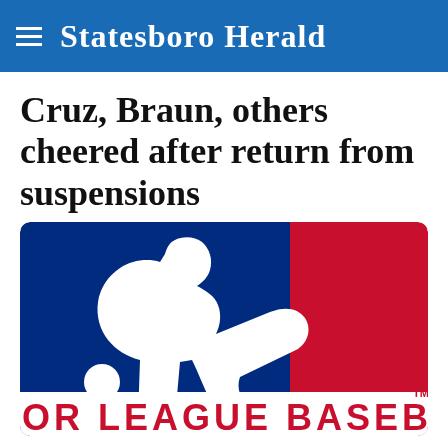Statesboro Herald
Cruz, Braun, others cheered after return from suspensions
[Figure (logo): Major League Baseball official logo: blue and red shield shape with white batter silhouette, text MAJOR LEAGUE BASEBALL in red below]
DAVID GINSBURG
AP Sports Writer